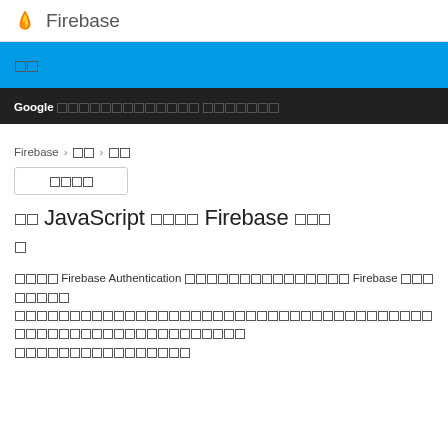Firebase
제품 (blue banner)
Google 개발자 문서 정책 (dark nav bar with underlined link)
Firebase > 제품 > 인증
버전 선택
웹 JavaScript 프로젝트에 Firebase 인증 시작하기
Firebase Firebase Authentication을 사용하면 앱에 엔드-투-엔드 아이덴티티 솔루션이 제공되어 Firebase 앱에서 사용자 인증, 로그인, 온보딩을 지원합니다. Authentication은 이메일/비밀번호 인증부터... (링크 포함) ...까지 지원합니다.